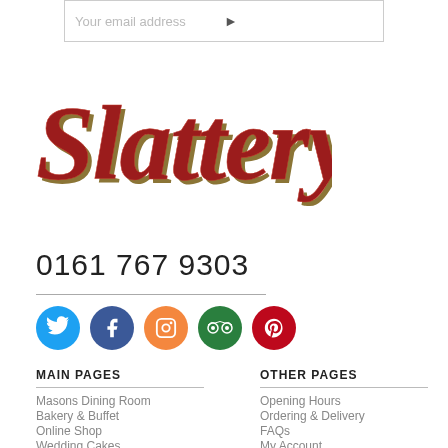Your email address
[Figure (logo): Slattery script logo in red/dark red with gold shadow]
0161 767 9303
[Figure (infographic): Row of social media icons: Twitter (blue), Facebook (dark blue), Instagram (orange), TripAdvisor (green), Pinterest (red)]
MAIN PAGES
OTHER PAGES
Masons Dining Room
Opening Hours
Bakery & Buffet
Ordering & Delivery
Online Shop
FAQs
Wedding Cakes
My Account
Celebration Cakes
Privacy Policy